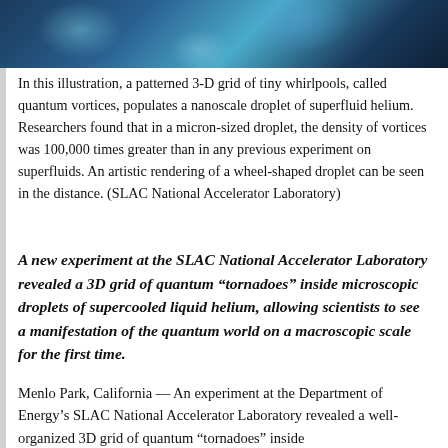[Figure (photo): Artistic illustration of a patterned 3-D grid of tiny whirlpools (quantum vortices) in a nanoscale droplet of superfluid helium, with blue swirling patterns and a wheel-shaped droplet visible in the background.]
In this illustration, a patterned 3-D grid of tiny whirlpools, called quantum vortices, populates a nanoscale droplet of superfluid helium. Researchers found that in a micron-sized droplet, the density of vortices was 100,000 times greater than in any previous experiment on superfluids. An artistic rendering of a wheel-shaped droplet can be seen in the distance. (SLAC National Accelerator Laboratory)
A new experiment at the SLAC National Accelerator Laboratory revealed a 3D grid of quantum “tornadoes” inside microscopic droplets of supercooled liquid helium, allowing scientists to see a manifestation of the quantum world on a macroscopic scale for the first time.
Menlo Park, California — An experiment at the Department of Energy’s SLAC National Accelerator Laboratory revealed a well-organized 3D grid of quantum “tornadoes” inside